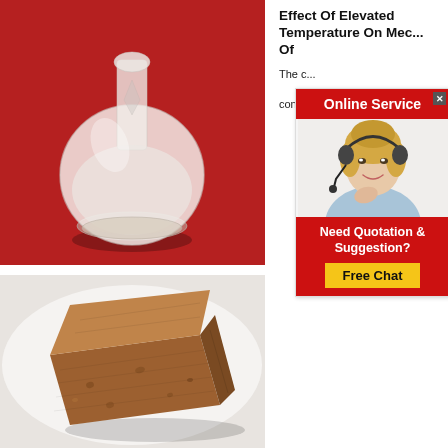[Figure (photo): Glass flask with white powder substance on red background]
Effect Of Elevated Temperature On Mechanical Properties Of ...
The c... conc...
[Figure (infographic): Online Service advertisement popup with woman wearing headset, Need Quotation & Suggestion? Free Chat button]
[Figure (photo): Brown refractory brick on white background]